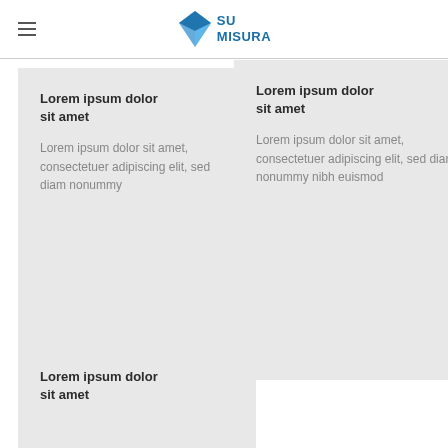SU MISURA
Lorem ipsum dolor sit amet
Lorem ipsum dolor sit amet, consectetuer adipiscing elit, sed diam nonummy
Lorem ipsum dolor sit amet
Lorem ipsum dolor sit amet, consectetuer adipiscing elit, sed diam nonummy nibh euismod
Lorem ipsum dolor sit amet